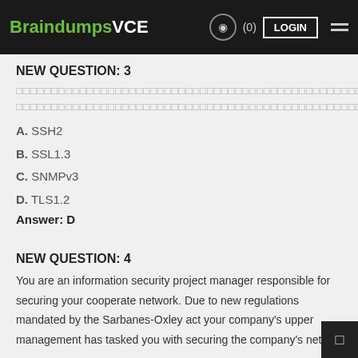BraindumpsVCE (0) LOGIN
NEW QUESTION: 3
[question text in non-Latin characters]
A. SSH2
B. SSL1.3
C. SNMPv3
D. TLS1.2
Answer: D
NEW QUESTION: 4
You are an information security project manager responsible for securing your cooperate network. Due to new regulations mandated by the Sarbanes-Oxley act your company's upper management has tasked you with securing the company's netw